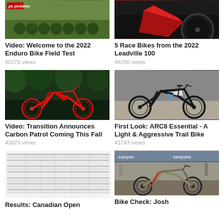[Figure (photo): Mountain bikes on grass with Pinkbike logo overlay, bikes in a row in background]
Video: Welcome to the 2022 Enduro Bike Field Test
50270 views
[Figure (photo): Red and black race bike close-up, partial view showing rear wheel and frame]
5 Race Bikes from the 2022 Leadville 100
46280 views
[Figure (photo): Red full-suspension mountain bike on green forest background, side profile view]
Video: Transition Announces Carbon Patrol Coming This Fall
43823 views
[Figure (photo): Black and blue/white full-suspension trail bike on gravel, side profile]
First Look: ARC8 Essential - A Light & Aggressive Trail Bike
41243 views
[Figure (table-as-image): Screenshot of race results table with multiple columns of rider names and times]
Results: Canadian Open
[Figure (photo): Canyon mountain bike on display at cycling expo/trade show, tan/green color with red fork]
Bike Check: Josh